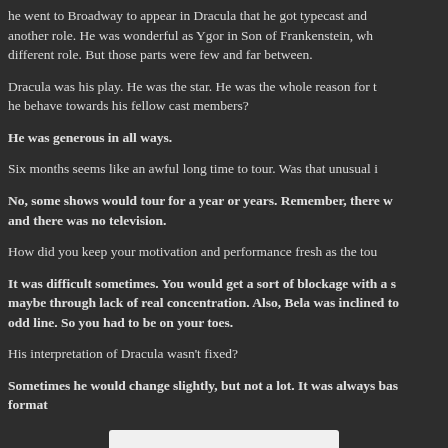he went to Broadway to appear in Dracula that he got typecast and another role. He was wonderful as Ygor in Son of Frankenstein, wh different role. But those parts were few and far between.
Dracula was his play. He was the star. He was the whole reason for t he behave towards his fellow cast members?
He was generous in all ways.
Six months seems like an awful long time to tour. Was that unusual i
No, some shows would tour for a year or years. Remember, there w and there was no television.
How did you keep your motivation and performance fresh as the tou
It was difficult sometimes. You would get a sort of blockage with a s maybe through lack of real concentration. Also, Bela was inclined to odd line. So you had to be on your toes.
His interpretation of Dracula wasn't fixed?
Sometimes he would change slightly, but not a lot. It was always bas format